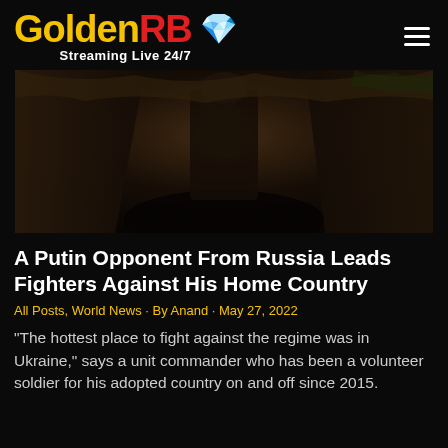GoldenRB Streaming Live 24/7
[Figure (photo): Dark photograph of a soldier in a trench, camouflage gear visible, surrounded by earthen walls and sparse vegetation]
A Putin Opponent From Russia Leads Fighters Against His Home Country
All Posts, World News · By Anand · May 27, 2022
“The hottest place to fight against the regime was in Ukraine,” says a unit commander who has been a volunteer soldier for his adopted country on and off since 2015.